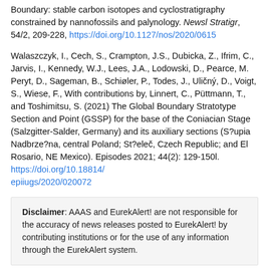Boundary: stable carbon isotopes and cyclostratigraphy constrained by nannofossils and palynology. Newsl Stratigr, 54/2, 209-228, https://doi.org/10.1127/nos/2020/0615
Walaszczyk, I., Cech, S., Crampton, J.S., Dubicka, Z., Ifrim, C., Jarvis, I., Kennedy, W.J., Lees, J.A., Lodowski, D., Pearce, M. Peryt, D., Sageman, B., Schiøler, P., Todes, J., Uličný, D., Voigt, S., Wiese, F., With contributions by, Linnert, C., Püttmann, T., and Toshimitsu, S. (2021) The Global Boundary Stratotype Section and Point (GSSP) for the base of the Coniacian Stage (Salzgitter-Salder, Germany) and its auxiliary sections (S?upia Nadbrze?na, central Poland; St?eleč, Czech Republic; and El Rosario, NE Mexico). Episodes 2021; 44(2): 129-150l. https://doi.org/10.18814/epiiugs/2020/020072
Disclaimer: AAAS and EurekAlert! are not responsible for the accuracy of news releases posted to EurekAlert! by contributing institutions or for the use of any information through the EurekAlert system.